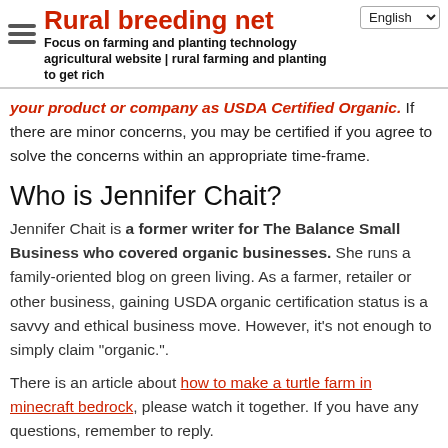Rural breeding net — Focus on farming and planting technology agricultural website | rural farming and planting to get rich
your product or company as USDA Certified Organic. If there are minor concerns, you may be certified if you agree to solve the concerns within an appropriate time-frame.
Who is Jennifer Chait?
Jennifer Chait is a former writer for The Balance Small Business who covered organic businesses. She runs a family-oriented blog on green living. As a farmer, retailer or other business, gaining USDA organic certification status is a savvy and ethical business move. However, it's not enough to simply claim "organic.".
There is an article about how to make a turtle farm in minecraft bedrock, please watch it together. If you have any questions, remember to reply.
Categories: Uncategorized